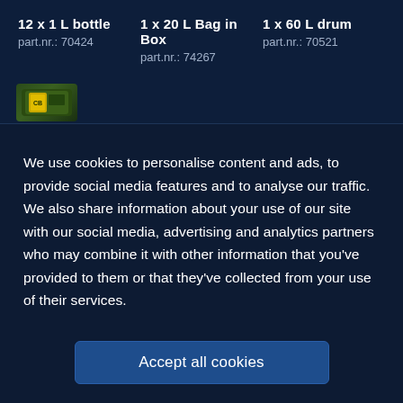12 x 1 L bottle
part.nr.: 70424
1 x 20 L Bag in Box
part.nr.: 74267
1 x 60 L drum
part.nr.: 70521
[Figure (photo): Small product can/container thumbnail image]
We use cookies to personalise content and ads, to provide social media features and to analyse our traffic. We also share information about your use of our site with our social media, advertising and analytics partners who may combine it with other information that you've provided to them or that they've collected from your use of their services.
Accept all cookies
Settings